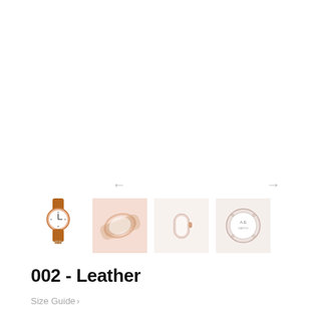[Figure (photo): Navigation arrows (left and right chevrons) for image carousel above thumbnail strip]
[Figure (photo): Four product thumbnail images: (1) full watch with brown leather strap and white dial, (2) close-up of watch face/dial, (3) side/profile view of watch, (4) back/caseback of watch]
002 - Leather
Size Guide >